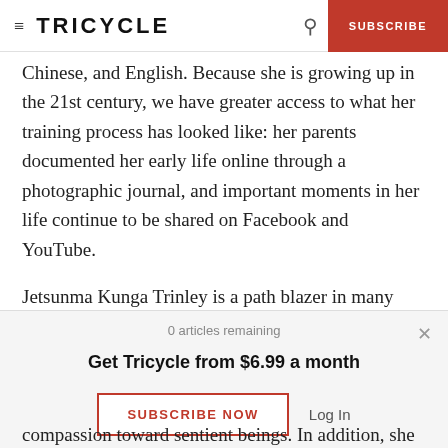≡ TRICYCLE  🔍  SUBSCRIBE
Chinese, and English. Because she is growing up in the 21st century, we have greater access to what her training process has looked like: her parents documented her early life online through a photographic journal, and important moments in her life continue to be shared on Facebook and YouTube.
Jetsunma Kunga Trinley is a path blazer in many
0 articles remaining
Get Tricycle from $6.99 a month
SUBSCRIBE NOW
Log In
compassion toward sentient beings. In addition, she